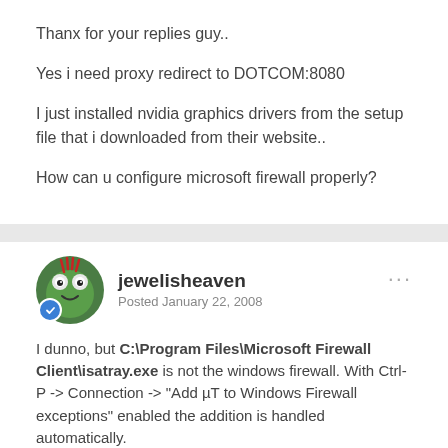Thanx for your replies guy..
Yes i need proxy redirect to DOTCOM:8080
I just installed nvidia graphics drivers from the setup file that i downloaded from their website..
How can u configure microsoft firewall properly?
jewelisheaven
Posted January 22, 2008
I dunno, but C:\Program Files\Microsoft Firewall Client\isatray.exe is not the windows firewall. With Ctrl-P -> Connection -> "Add µT to Windows Firewall exceptions" enabled the addition is handled automatically.
I'd verify your settings which were setup correctly are STILL setup correctly. I presume you have forwarded ports from your Default Gateway? Hey, it can't hurt to remove any rules in Firewall Client, and